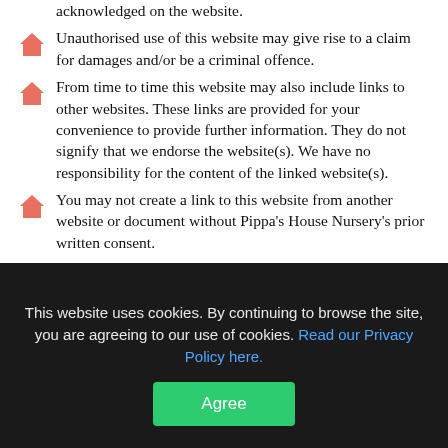acknowledged on the website.
Unauthorised use of this website may give rise to a claim for damages and/or be a criminal offence.
From time to time this website may also include links to other websites. These links are provided for your convenience to provide further information. They do not signify that we endorse the website(s). We have no responsibility for the content of the linked website(s).
You may not create a link to this website from another website or document without Pippa's House Nursery's prior written consent.
Your use of this website and any dispute arising out of such use of the website is subject to the laws of England, Scotland and Wales.
This website uses cookies. By continuing to browse the site, you are agreeing to our use of cookies. Read our Privacy Policy here.